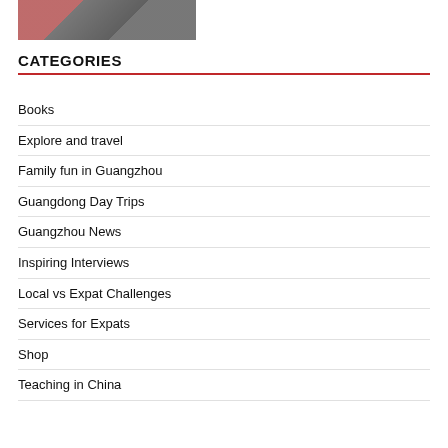[Figure (photo): Book cover image partially visible at top of page]
CATEGORIES
Books
Explore and travel
Family fun in Guangzhou
Guangdong Day Trips
Guangzhou News
Inspiring Interviews
Local vs Expat Challenges
Services for Expats
Shop
Teaching in China